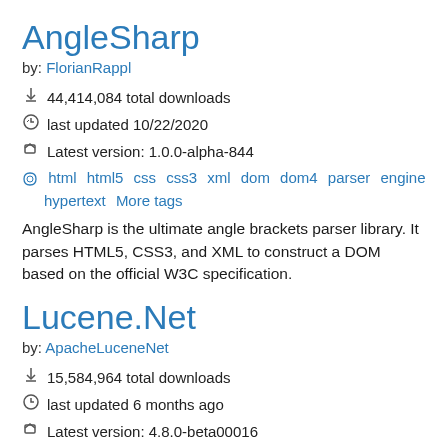AngleSharp
by: FlorianRappl
44,414,084 total downloads
last updated 10/22/2020
Latest version: 1.0.0-alpha-844
html html5 css css3 xml dom dom4 parser engine hypertext More tags
AngleSharp is the ultimate angle brackets parser library. It parses HTML5, CSS3, and XML to construct a DOM based on the official W3C specification.
Lucene.Net
by: ApacheLuceneNet
15,584,964 total downloads
last updated 6 months ago
Latest version: 4.8.0-beta00016
lucene.net core text search information retrieval lucene apache analysis index More tags
Lucene.Net is a full-text search engine library capable of